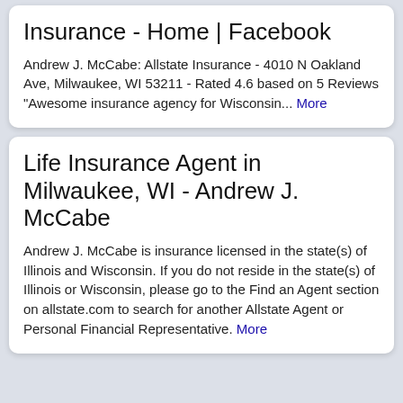Insurance - Home | Facebook
Andrew J. McCabe: Allstate Insurance - 4010 N Oakland Ave, Milwaukee, WI 53211 - Rated 4.6 based on 5 Reviews "Awesome insurance agency for Wisconsin... More
Life Insurance Agent in Milwaukee, WI - Andrew J. McCabe
Andrew J. McCabe is insurance licensed in the state(s) of Illinois and Wisconsin. If you do not reside in the state(s) of Illinois or Wisconsin, please go to the Find an Agent section on allstate.com to search for another Allstate Agent or Personal Financial Representative. More